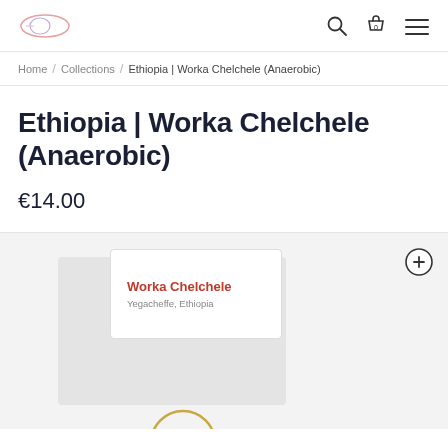Logo / Navigation header with search, cart (0), and menu icons
Home / Collections / Ethiopia | Worka Chelchele (Anaerobic)
Ethiopia | Worka Chelchele (Anaerobic)
€14.00
[Figure (photo): Product image showing a coffee bag card with 'Worka Chelchele, Yegacheffe, Ethiopia' text label, displayed against a light grey background with a zoom-in icon in the top right. A partial golden circle is visible at the bottom.]